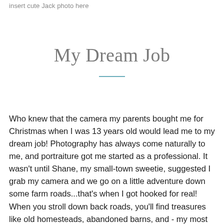insert cute Jack photo here
My Dream Job
Who knew that the camera my parents bought me for Christmas when I was 13 years old would lead me to my dream job!  Photography has always come naturally to me, and portraiture got me started as a professional. It wasn't until Shane, my small-town sweetie, suggested I grab my camera and we go on a little adventure down some farm roads...that's when I got hooked for real! When you stroll down back roads, you'll find treasures like old homesteads, abandoned barns, and - my most favorite thing to